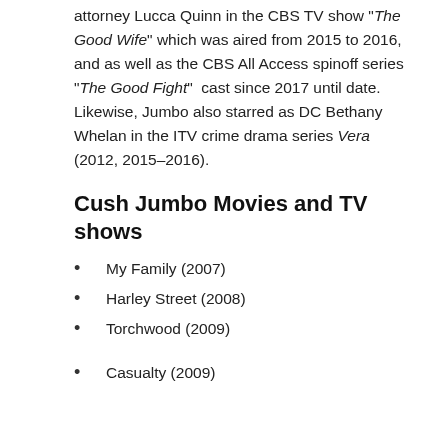attorney Lucca Quinn in the CBS TV show "The Good Wife" which was aired from 2015 to 2016, and as well as the CBS All Access spinoff series "The Good Fight" cast since 2017 until date. Likewise, Jumbo also starred as DC Bethany Whelan in the ITV crime drama series Vera (2012, 2015–2016).
Cush Jumbo Movies and TV shows
My Family (2007)
Harley Street (2008)
Torchwood (2009)
Casualty (2009)